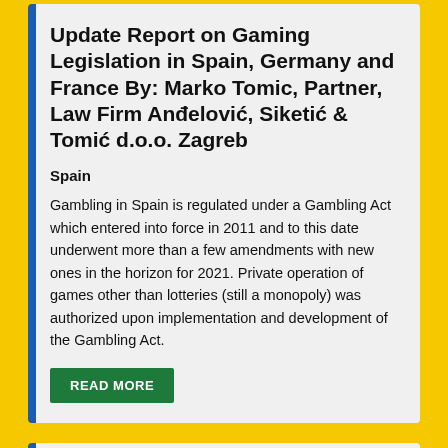Update Report on Gaming Legislation in Spain, Germany and France By: Marko Tomic, Partner, Law Firm Anđelović, Siketić & Tomić d.o.o. Zagreb
Spain
Gambling in Spain is regulated under a Gambling Act which entered into force in 2011 and to this date underwent more than a few amendments with new ones in the horizon for 2021. Private operation of games other than lotteries (still a monopoly) was authorized upon implementation and development of the Gambling Act.
Must the Show go on? By Robert Brassai